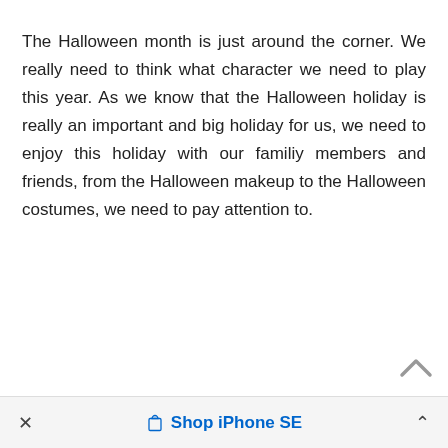The Halloween month is just around the corner. We really need to think what character we need to play this year. As we know that the Halloween holiday is really an important and big holiday for us, we need to enjoy this holiday with our familiy members and friends, from the Halloween makeup to the Halloween costumes, we need to pay attention to.
× Shop iPhone SE ^